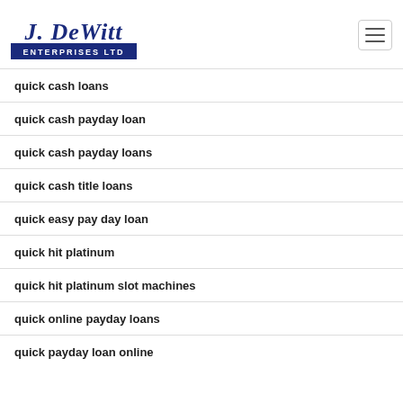[Figure (logo): J. DeWitt Enterprises Ltd logo in navy blue script and block lettering]
quick cash loans
quick cash payday loan
quick cash payday loans
quick cash title loans
quick easy pay day loan
quick hit platinum
quick hit platinum slot machines
quick online payday loans
quick payday loan online